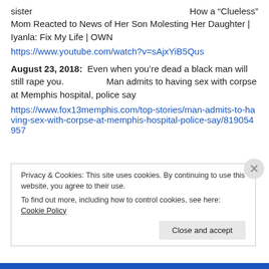sister	How a “Clueless” Mom Reacted to News of Her Son Molesting Her Daughter | Iyanla: Fix My Life | OWN
https://www.youtube.com/watch?v=sAjxYiB5Qus
August 23, 2018:  Even when you’re dead a black man will still rape you.    Man admits to having sex with corpse at Memphis hospital, police say
https://www.fox13memphis.com/top-stories/man-admits-to-having-sex-with-corpse-at-memphis-hospital-police-say/819054957
Privacy & Cookies: This site uses cookies. By continuing to use this website, you agree to their use.
To find out more, including how to control cookies, see here: Cookie Policy
Close and accept